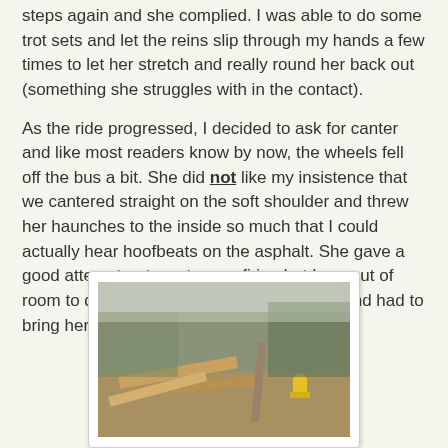steps again and she complied. I was able to do some trot sets and let the reins slip through my hands a few times to let her stretch and really round her back out (something she struggles with in the contact).
As the ride progressed, I decided to ask for canter and like most readers know by now, the wheels fell off the bus a bit. She did not like my insistence that we cantered straight on the soft shoulder and threw her haunches to the inside so much that I could actually hear hoofbeats on the asphalt. She gave a good attempt or two at cross-firing but I ran out of room to deal with it (driveway) accordingly and had to bring her back down, regroup and try again.
[Figure (photo): Outdoor photo showing lumber or debris on the ground near a driveway, with overgrown vegetation and a yellow fire hydrant visible in the background.]